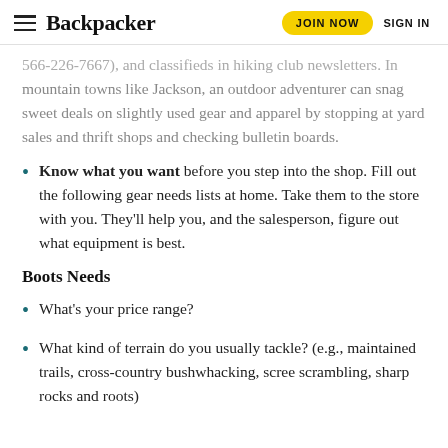Backpacker | JOIN NOW | SIGN IN
566-226-7667), and classifieds in hiking club newsletters. In mountain towns like Jackson, an outdoor adventurer can snag sweet deals on slightly used gear and apparel by stopping at yard sales and thrift shops and checking bulletin boards.
Know what you want before you step into the shop. Fill out the following gear needs lists at home. Take them to the store with you. They'll help you, and the salesperson, figure out what equipment is best.
Boots Needs
What's your price range?
What kind of terrain do you usually tackle? (e.g., maintained trails, cross-country bushwhacking, scree scrambling, sharp rocks and roots)